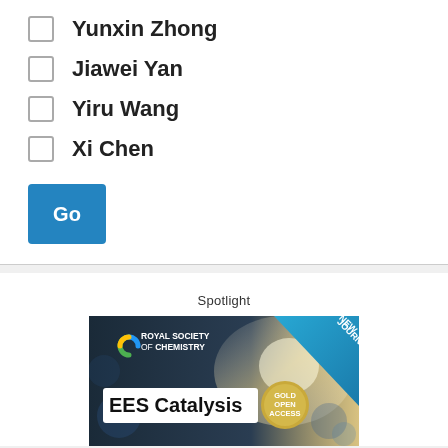Yunxin Zhong
Jiawei Yan
Yiru Wang
Xi Chen
Go
Spotlight
[Figure (illustration): Royal Society of Chemistry EES Catalysis journal advertisement with 'NEW JOURNAL' banner and 'GOLD OPEN ACCESS' badge]